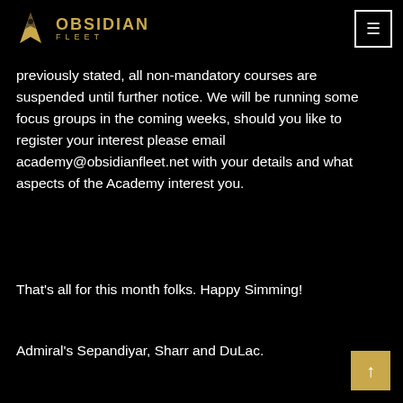OBSIDIAN FLEET
previously stated, all non-mandatory courses are suspended until further notice. We will be running some focus groups in the coming weeks, should you like to register your interest please email academy@obsidianfleet.net with your details and what aspects of the Academy interest you.
That’s all for this month folks. Happy Simming!
Admiral’s Sepandiyar, Sharr and DuLac.